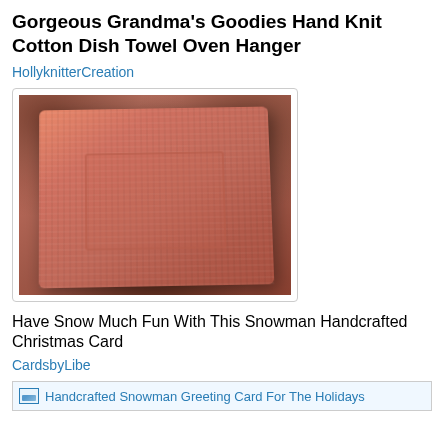Gorgeous Grandma's Goodies Hand Knit Cotton Dish Towel Oven Hanger
HollyknitterCreation
[Figure (photo): A salmon/coral colored hand-knit cotton dish towel with a snowman pattern, laid flat on a dark wooden table surface. The towel is square-shaped with textured knit stitching.]
Have Snow Much Fun With This Snowman Handcrafted Christmas Card
CardsbyLibe
[Figure (photo): Handcrafted Snowman Greeting Card For The Holidays - image placeholder with link text]